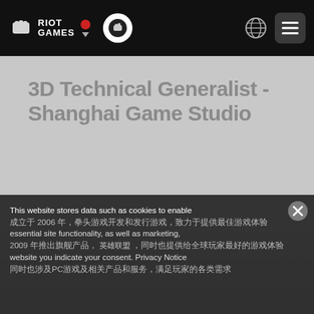Riot Games navigation bar with logo, game icon, globe icon, and hamburger menu
3D Technical Generalist - Shanghai Game Studio
This website stores data such as cookies to enable essential site functionality, as well as marketing, website you indicate your consent. Privacy Notice
成立于2006年，拳头游戏开发和发行游戏，致力于2009年推出旗舰产品，英雄联盟，同时也提供PC游戏及相关产品和服务。